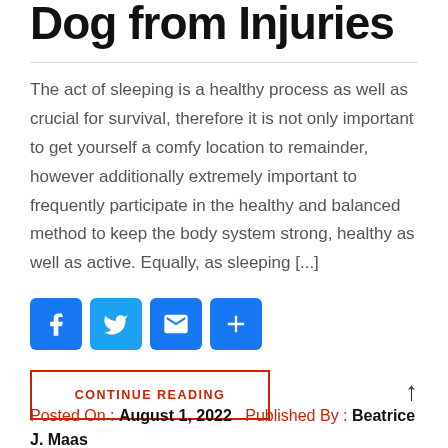Dog from Injuries
The act of sleeping is a healthy process as well as crucial for survival, therefore it is not only important to get yourself a comfy location to remainder, however additionally extremely important to frequently participate in the healthy and balanced method to keep the body system strong, healthy as well as active. Equally, as sleeping [...]
[Figure (infographic): Social media share buttons: Facebook, Twitter, Email, Share (plus icon), all with blue rounded square backgrounds]
CONTINUE READING
Posted On : August 1, 2022   Published By : Beatrice J. Maas